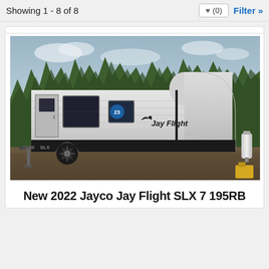Showing 1 - 8 of 8
[Figure (photo): Photograph of a Jayco Jay Flight SLX travel trailer RV parked outdoors with trees and cloudy sky in background. A propane tank is visible on the right side.]
New 2022 Jayco Jay Flight SLX 7 195RB